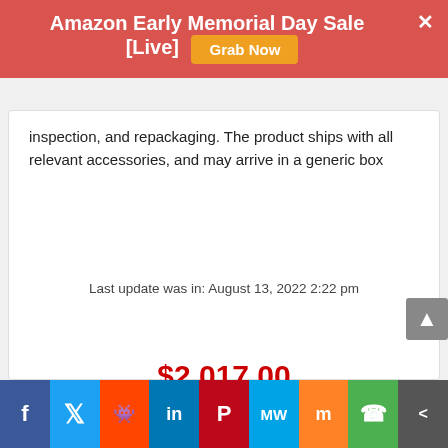Amazon Early Memorial Day Sale [Live] Grab Now
inspection, and repackaging. The product ships with all relevant accessories, and may arrive in a generic box
Last update was in: August 13, 2022 2:22 pm
$2,017.00
BUY THIS ITEM
amazon.com
f  Twitter  Reddit  in  Pinterest  MW  Mix  WhatsApp  Share